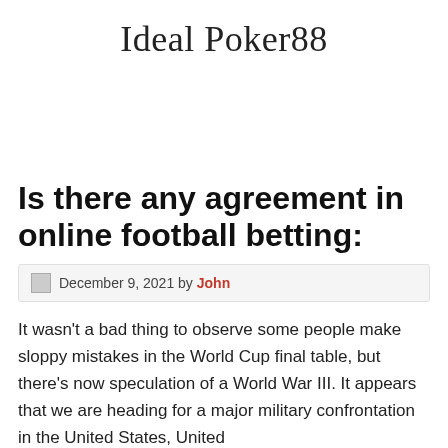Ideal Poker88
Is there any agreement in online football betting:
December 9, 2021 by John
It wasn't a bad thing to observe some people make sloppy mistakes in the World Cup final table, but there's now speculation of a World War III. It appears that we are heading for a major military confrontation in the United States, United